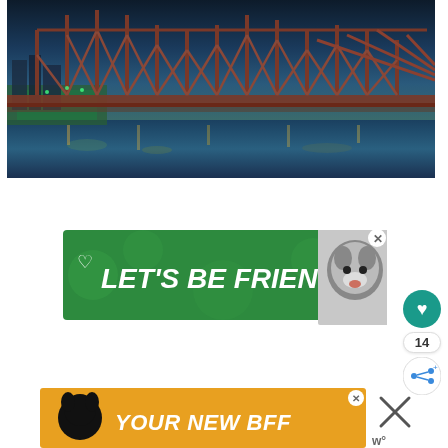[Figure (photo): Aerial twilight view of a city bridge with steel truss structure spanning a river, city lights reflecting on water, green park area visible]
[Figure (infographic): Green advertisement banner reading LET'S BE FRIENDS with a heart icon and a dog (husky) image on the right, with a close X button]
[Figure (infographic): Social interaction buttons: teal heart circle button, count showing 14, and a share button]
[Figure (infographic): Orange/yellow advertisement banner reading YOUR NEW BFF with a black dog on left, and a close X button. WP logo visible bottom right.]